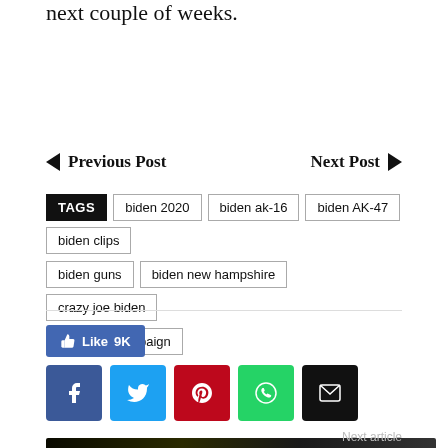next couple of weeks.
Previous Post | Next Post
TAGS  biden 2020  biden ak-16  biden AK-47  biden clips  biden guns  biden new hampshire  crazy joe biden  joe biden campaign
[Figure (other): Social media share buttons: Like 9K (Facebook), Facebook, Twitter, Pinterest, WhatsApp, Email]
[Figure (other): Travel Guide for Gun Owners advertisement banner: Protect yourself wherever you go. U.S. LawShield.]
Next article